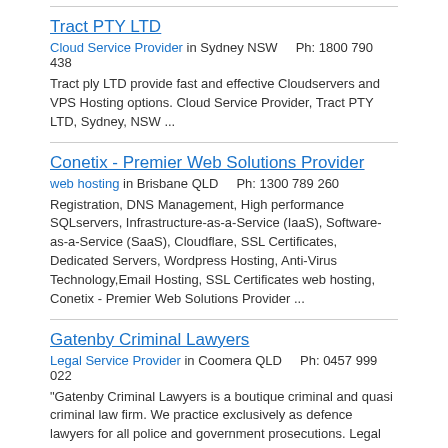Tract PTY LTD
Cloud Service Provider in Sydney NSW    Ph: 1800 790 438
Tract ply LTD provide fast and effective Cloudservers and VPS Hosting options. Cloud Service Provider, Tract PTY LTD, Sydney, NSW ...
Conetix - Premier Web Solutions Provider
web hosting in Brisbane QLD    Ph: 1300 789 260
Registration, DNS Management, High performance SQLservers, Infrastructure-as-a-Service (IaaS), Software-as-a-Service (SaaS), Cloudflare, SSL Certificates, Dedicated Servers, Wordpress Hosting, Anti-Virus Technology,Email Hosting, SSL Certificates web hosting, Conetix - Premier Web Solutions Provider ...
Gatenby Criminal Lawyers
Legal Service Provider in Coomera QLD    Ph: 0457 999 022
"Gatenby Criminal Lawyers is a boutique criminal and quasi criminal law firm. We practice exclusively as defence lawyers for all police and government prosecutions. Legal Service Provider, Gatenby Criminal Lawyers, Coomera, QLD ...
All Your Conveyancing
Paralegal Services Provider in Heathcote NSW    Ph: (02) 9520 1060
Shona Riley is a Certified Practicing Conveyancer in the Sutherland Shire